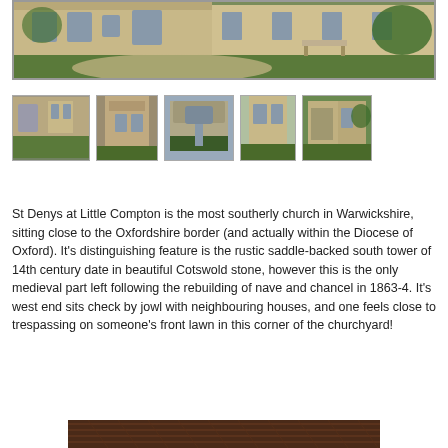[Figure (photo): Wide panoramic photo of St Denys church at Little Compton showing stone building with green lawn and bench]
[Figure (photo): Thumbnail 1: St Denys church front view showing twin gables]
[Figure (photo): Thumbnail 2: Stone tower close-up of St Denys church]
[Figure (photo): Thumbnail 3: Church entrance with ivy-covered stonework]
[Figure (photo): Thumbnail 4: Side view of church tower]
[Figure (photo): Thumbnail 5: Another exterior view of St Denys church]
St Denys at Little Compton is the most southerly church in Warwickshire, sitting close to the Oxfordshire border (and actually within the Diocese of Oxford). It's distinguishing feature is the rustic saddle-backed south tower of 14th century date in beautiful Cotswold stone, however this is the only medieval part left following the rebuilding of nave and chancel in 1863-4. It's west end sits check by jowl with neighbouring houses, and one feels close to trespassing on someone's front lawn in this corner of the churchyard!
[Figure (photo): Bottom partial photo showing dark wooden interior feature of church]